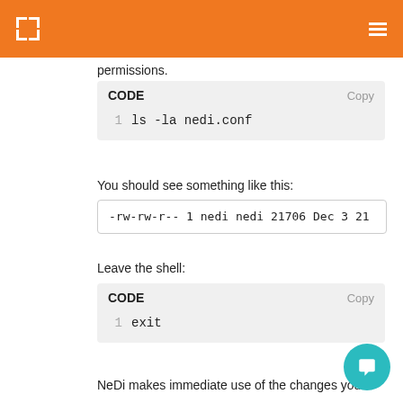permissions.
CODE
ls -la nedi.conf
You should see something like this:
-rw-rw-r-- 1 nedi nedi 21706 Dec 3 21
Leave the shell:
CODE
exit
NeDi makes immediate use of the changes you